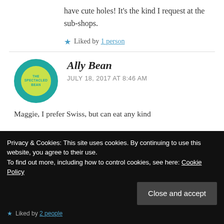have cute holes! It's the kind I request at the sub-shops.
Liked by 1 person
[Figure (illustration): Circular avatar for 'The Spectacled Bean' blog with teal outer ring and yellow-green inner circle with text]
Ally Bean
JULY 18, 2017 AT 8:46 AM
Maggie, I prefer Swiss, but can eat any kind
Privacy & Cookies: This site uses cookies. By continuing to use this website, you agree to their use. To find out more, including how to control cookies, see here: Cookie Policy
Close and accept
Liked by 2 people